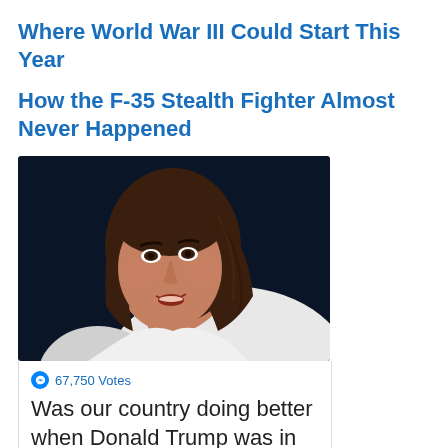Where World War III Could Start This Year
How the F-35 Stealth Fighter Almost Never Happened
[Figure (photo): Close-up photograph of a woman with long brown hair, mouth slightly open, wearing a white shirt, against a dark blue background.]
67,750 Votes
Was our country doing better when Donald Trump was in the White House?